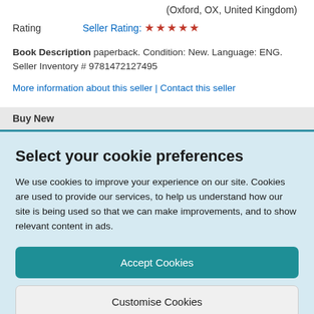(Oxford, OX, United Kingdom)
Rating  Seller Rating: ★★★★★
Book Description paperback. Condition: New. Language: ENG. Seller Inventory # 9781472127495
More information about this seller | Contact this seller
Buy New
Select your cookie preferences
We use cookies to improve your experience on our site. Cookies are used to provide our services, to help us understand how our site is being used so that we can make improvements, and to show relevant content in ads.
Accept Cookies
Customise Cookies